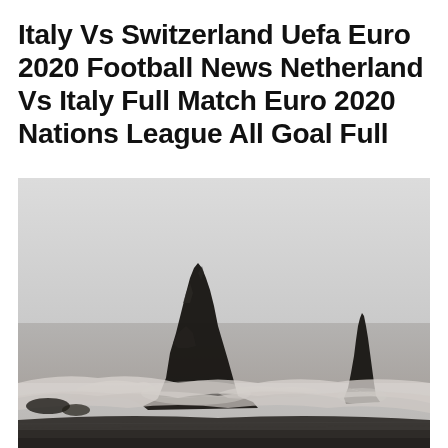Italy Vs Switzerland Uefa Euro 2020 Football News Netherland Vs Italy Full Match Euro 2020 Nations League All Goal Full
[Figure (photo): Dramatic black and white coastal scene showing two large dark volcanic rock sea stacks rising from the ocean with waves crashing around them. A dark sandy beach is visible in the foreground. The sky is overcast and pale grey. The scene resembles Reynisfjara black sand beach in Iceland.]